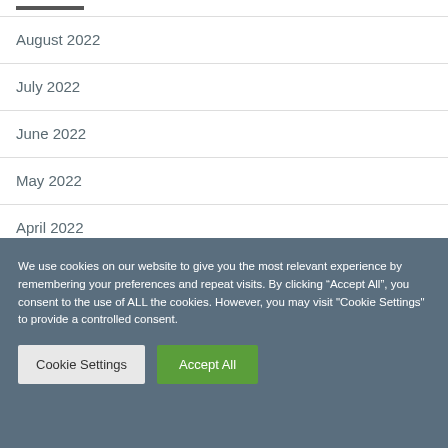WATERLOO REGION
August 2022
July 2022
June 2022
May 2022
April 2022
March 2022
We use cookies on our website to give you the most relevant experience by remembering your preferences and repeat visits. By clicking “Accept All”, you consent to the use of ALL the cookies. However, you may visit "Cookie Settings" to provide a controlled consent.
Cookie Settings | Accept All